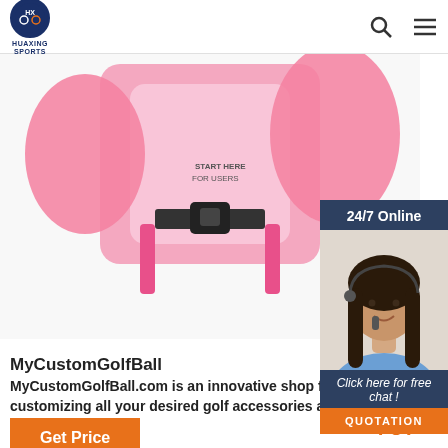HUAXING SPORTS — search and menu icons
[Figure (photo): Pink golf swing trainer vest with adjustable strap and buckle, shown from back/bottom angle with pink foam attachments visible on sides]
[Figure (photo): 24/7 Online chat sidebar showing a female customer service agent wearing a headset and blue shirt, smiling]
24/7 Online
Click here for free chat !
QUOTATION
MyCustomGolfBall
MyCustomGolfBall.com is an innovative shop for customizing all your desired golf accessories and equipment.
Get Price
[Figure (illustration): Orange TOP button with dot-pattern arrow pointing upward above the word TOP in orange bold letters]